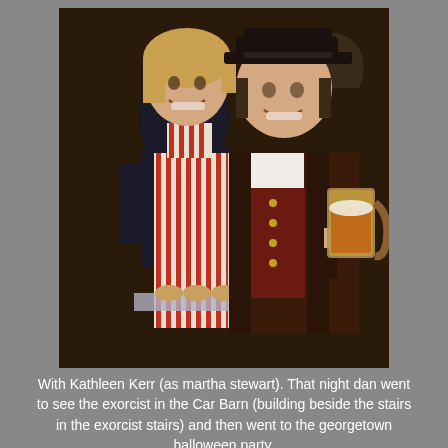[Figure (photo): A woman wearing a red-and-white striped apron over a dark top, holding a tray of baked goods, standing next to a man dressed in a colonial/pirate costume holding a large beer stein. They are posing together at what appears to be a Halloween party.]
With Kathleen Kerr (as martha stewart). That night dan went to see the exorcist in the Car Barn (building beside the stairs in the exorcist stairs) and then went to the georgetown halloween party.